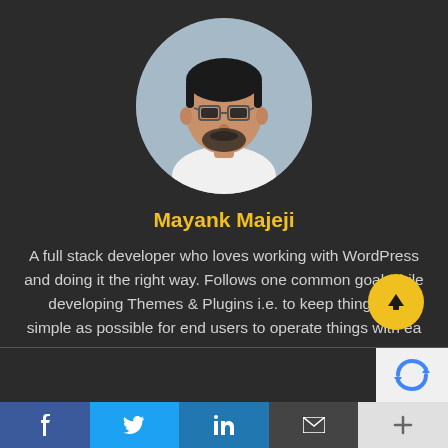[Figure (photo): Circular profile photo of Mayank Majeji, a young man with glasses and a beard, wearing a white shirt, with a blurred background]
Mayank Majeji
A full stack developer who loves working with WordPress and doing it the right way. Follows one common goal while developing Themes & Plugins i.e. to keep things as simple as possible for end users to operate things with ea
[Figure (other): Yellow circular scroll/share button with an upward arrow icon]
[Figure (other): reCAPTCHA logo box in white/grey at bottom right]
[Figure (other): Social sharing bar with Facebook (f), Twitter (bird), LinkedIn (in), email (envelope), and plus (+) icons]